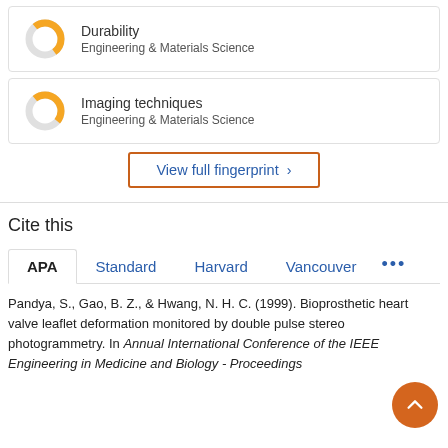[Figure (donut-chart): Donut chart showing partial fill in orange for Durability concept, Engineering & Materials Science]
Durability
Engineering & Materials Science
[Figure (donut-chart): Donut chart showing partial fill in orange for Imaging techniques concept, Engineering & Materials Science]
Imaging techniques
Engineering & Materials Science
View full fingerprint >
Cite this
APA  Standard  Harvard  Vancouver  ...
Pandya, S., Gao, B. Z., & Hwang, N. H. C. (1999). Bioprosthetic heart valve leaflet deformation monitored by double pulse stereo photogrammetry. In Annual International Conference of the IEEE Engineering in Medicine and Biology - Proceedings